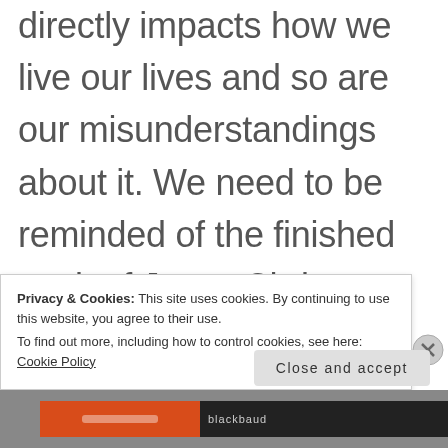directly impacts how we live our lives and so are our misunderstandings about it. We need to be reminded of the finished work of Jesus Christ on the cross and its implications. Reminding ourselves of the Gospel keeps us grounded to our own depravity.
Privacy & Cookies: This site uses cookies. By continuing to use this website, you agree to their use.
To find out more, including how to control cookies, see here: Cookie Policy